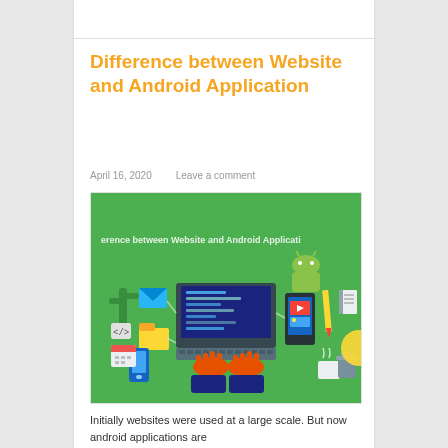Difference between Website and Android Application
April 16, 2020    Leave a comment
[Figure (illustration): Illustration showing a person typing on a laptop with various technology icons around it including a mobile phone, cactus, email, folder, and coding screen. Text overlay reads 'erence between Website and Android Applicati']
Initially websites were used at a large scale. But now android applications are